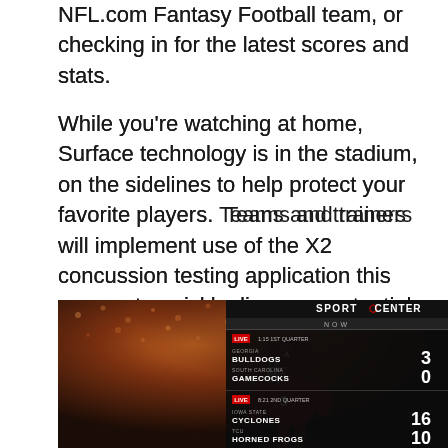NFL.com Fantasy Football team, or checking in for the latest scores and stats.
While you're watching at home, Surface technology is in the stadium, on the sidelines to help protect your favorite players. Teams and trainers will implement use of the X2 concussion testing application this season to quickly diagnose potential player concussions immediately after leaving the playing field with the help of Surface tablets, helping quickly determine if they can get back in the game or call it a day.
[Figure (photo): A football player wearing a Texas A&M maroon helmet and uniform, with an ESPN SportsCenter scoreboard overlay in the top right showing live game scores: Georgia Bulldogs 3, South Carolina Gamecocks 0; Iowa State Cyclones 16, Hobert Errors 10.]